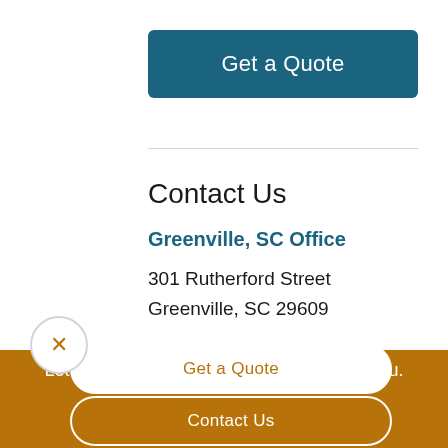Get a Quote
Contact Us
Greenville, SC Office
301 Rutherford Street
Greenville, SC 29609
Let us help protect what matters most to you.
Get a Quote
Contact Us